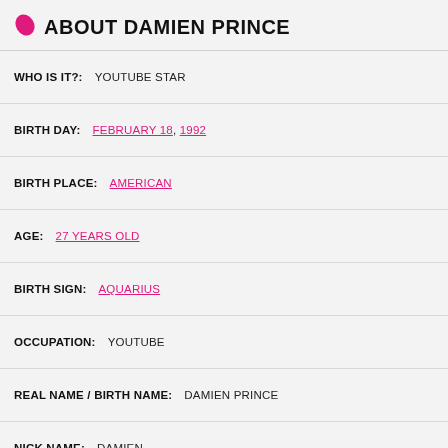ABOUT DAMIEN PRINCE
WHO IS IT?: YOUTUBE STAR
BIRTH DAY: FEBRUARY 18, 1992
BIRTH PLACE: AMERICAN
AGE: 27 YEARS OLD
BIRTH SIGN: AQUARIUS
OCCUPATION: YOUTUBE
REAL NAME / BIRTH NAME: DAMIEN PRINCE
NICK NAME: DAMIEN
AGE / HOW OLD?: FEBRUARY 18, 1992
FROM (PLACE OF BIRTH):: INDIANA
RELIGION: UNKNOWN